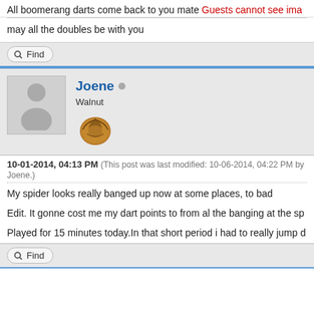All boomerang darts come back to you mate Guests cannot see ima
may all the doubles be with you
Find
Joene • Walnut
10-01-2014, 04:13 PM (This post was last modified: 10-06-2014, 04:22 PM by Joene.)
My spider looks really banged up now at some places, to bad
Edit. It gonne cost me my dart points to from al the banging at the sp
Played for 15 minutes today.In that short period i had to really jump d
Find